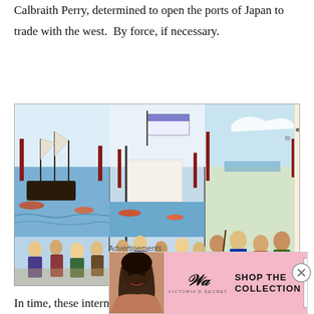Calbraith Perry, determined to open the ports of Japan to trade with the west.  By force, if necessary.
[Figure (illustration): A Japanese woodblock print (ukiyo-e triptych) depicting a busy harbor scene with American warships on the left and Japanese samurai and townspeople on the right, with flags including the Japanese rising sun flag in the center.]
In time, these internal Japanese issues and the growing pressure of western encroachment led to the end of the
Advertisements
[Figure (screenshot): Victoria's Secret advertisement banner with a model on the left, VS logo, 'SHOP THE COLLECTION' text in the center, and a 'SHOP NOW' button on the right, on a pink background.]